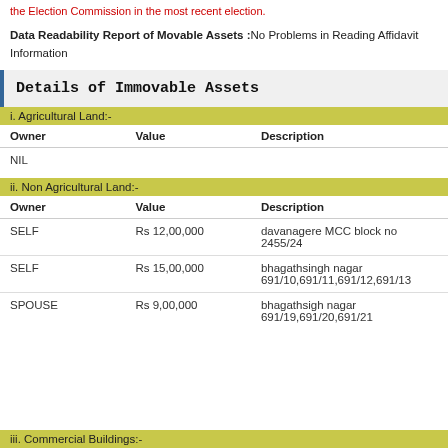the Election Commission in the most recent election.
Data Readability Report of Movable Assets :No Problems in Reading Affidavit Information
Details of Immovable Assets
i. Agricultural Land:-
| Owner | Value | Description |
| --- | --- | --- |
| NIL |  |  |
ii. Non Agricultural Land:-
| Owner | Value | Description |
| --- | --- | --- |
| SELF | Rs 12,00,000 | davanagere MCC block no 2455/24 |
| SELF | Rs 15,00,000 | bhagathsingh nagar 691/10,691/11,691/12,691/13 |
| SPOUSE | Rs 9,00,000 | bhagathsigh nagar 691/19,691/20,691/21 |
iii. Commercial Buildings:-